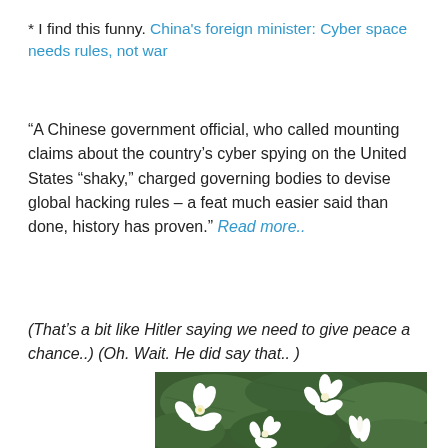* I find this funny. China's foreign minister: Cyber space needs rules, not war
“A Chinese government official, who called mounting claims about the country’s cyber spying on the United States “shaky,” charged governing bodies to devise global hacking rules – a feat much easier said than done, history has proven.” Read more..
(That’s a bit like Hitler saying we need to give peace a chance..) (Oh. Wait. He did say that.. )
[Figure (photo): Close-up photo of white jasmine or similar white flowers with dark green leaves]